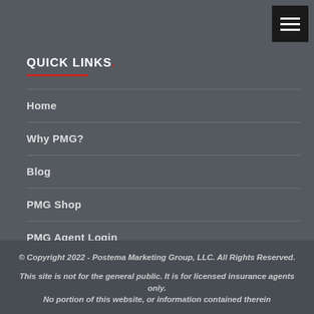[Figure (other): Hamburger menu icon button — three horizontal white lines on dark background, top right corner]
QUICK LINKS.
Home
Why PMG?
Blog
PMG Shop
PMG Agent Login
© Copyright 2022 - Postema Marketing Group, LLC. All Rights Reserved.

This site is not for the general public. It is for licensed insurance agents only.
No portion of this website, or information contained therein